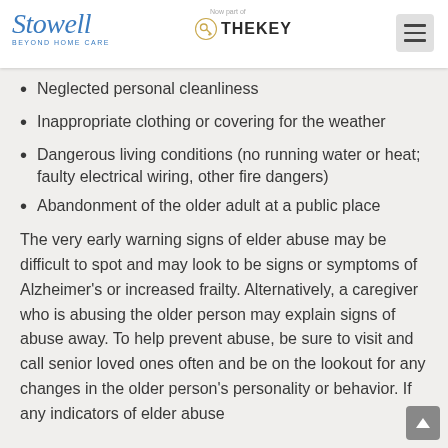Stowell Beyond Home Care — Now part of TheKey
Physical concerns, such as bed sores, that have not [taken...]
Unsanitary living conditions
Neglected personal cleanliness
Inappropriate clothing or covering for the weather
Dangerous living conditions (no running water or heat; faulty electrical wiring, other fire dangers)
Abandonment of the older adult at a public place
The very early warning signs of elder abuse may be difficult to spot and may look to be signs or symptoms of Alzheimer's or increased frailty. Alternatively, a caregiver who is abusing the older person may explain signs of abuse away. To help prevent abuse, be sure to visit and call senior loved ones often and be on the lookout for any changes in the older person's personality or behavior. If any indicators of elder abuse